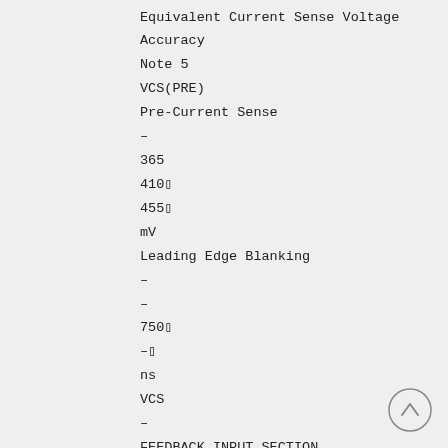Equivalent Current Sense Voltage Accuracy
Note 5
VCS(PRE)
Pre-Current Sense
–
365
410□
455□
mV
Leading Edge Blanking
–
–
750□
–□
ns
VCS
–
FEEDBACK INPUT SECTION
IFB
Feedback Pin Input Leakage Current
VFB=4V
2.0
2.5
3.1